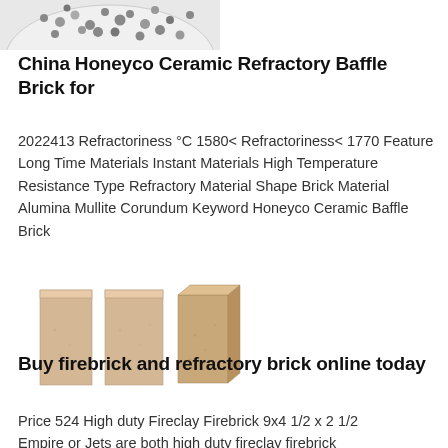[Figure (photo): Partial view of a plate with small metallic/ceramic balls or beads in black and white]
China Honeyco Ceramic Refractory Baffle Brick for
2022413 Refractoriness °C 1580< Refractoriness< 1770 Feature Long Time Materials Instant Materials High Temperature Resistance Type Refractory Material Shape Brick Material Alumina Mullite Corundum Keyword Honeyco Ceramic Baffle Brick
[Figure (photo): Three refractory firebricks standing upright, light beige/tan color with sandy texture]
Buy firebrick and refractory brick online today
Price 524 High duty Fireclay Firebrick 9x4 1/2 x 2 1/2
Empire or Jets are both high duty fireclay firebrick